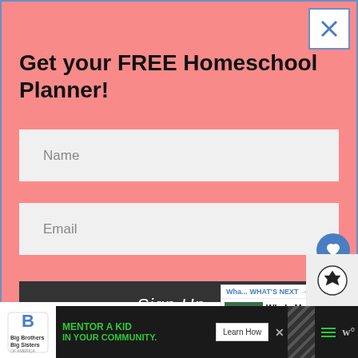[Figure (screenshot): Pink popup modal for free homeschool planner signup with name field, email field, and sign up button. Has a close button (X) in top right corner.]
Get your FREE Homeschool Planner!
Name
Email
Sign Up
WHAT'S NEXT → Whale Movies for Kids
CONTINUE READING
[Figure (screenshot): Bottom advertisement bar for Big Brothers Big Sisters: MENTOR A KID IN YOUR COMMUNITY with Learn How button.]